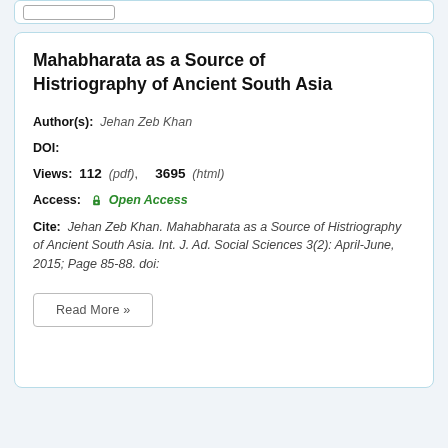Mahabharata as a Source of Histriography of Ancient South Asia
Author(s): Jehan Zeb Khan
DOI:
Views: 112 (pdf), 3695 (html)
Access: Open Access
Cite: Jehan Zeb Khan. Mahabharata as a Source of Histriography of Ancient South Asia. Int. J. Ad. Social Sciences 3(2): April-June, 2015; Page 85-88. doi:
Read More »